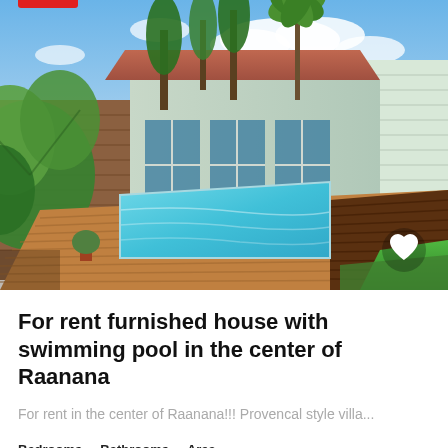[Figure (photo): Outdoor swimming pool with wooden deck surrounded by tropical plants and a house with large glass sliding doors in the background. Blue sky with white clouds visible above.]
For rent furnished house with swimming pool in the center of Raanana
For rent in the center of Raanana!!! Provencal style villa...
Bedrooms  Bathrooms  Area